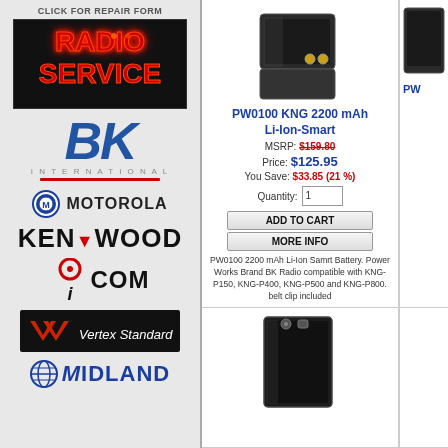CLICK FOR REPAIR FORM
[Figure (photo): Radio Service neon sign on black background]
[Figure (logo): BK Radio logo in blue italic letters with red underline]
[Figure (logo): Motorola logo with circular M icon]
[Figure (logo): Kenwood logo in bold black letters with red triangle accent]
[Figure (logo): ICOM logo with red circle i and black COM text]
[Figure (logo): Vertex Standard logo on black background with red chevron]
[Figure (logo): Midland logo with globe icon in blue]
[Figure (photo): PW0100 KNG 2200 mAh Li-Ion-Smart battery product image]
PW0100 KNG 2200 mAh Li-Ion-Smart
MSRP: $159.80
Price: $125.95
You Save: $33.85 (21 %)
Quantity: 1
ADD TO CART
MORE INFO
PW0100 2200 mAh Li-Ion Samrt Battery. Power Works Brand BK Radio compatible with KNG-P150, KNG-P400, KNG-P500 and KNG-P800. belt clip included
[Figure (photo): Second battery product image, black rectangular battery]